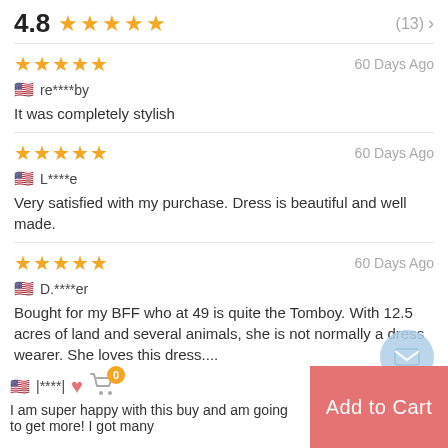4.8 ★★★★★ (13) >
★★★★★   60 Days Ago
🇺🇸 re****by
It was completely stylish
★★★★★   60 Days Ago
🇺🇸 L****e
Very satisfied with my purchase. Dress is beautiful and well made.
★★★★★   60 Days Ago
🇺🇸 D.****er
Bought for my BFF who at 49 is quite the Tomboy. With 12.5 acres of land and several animals, she is not normally a dress wearer. She loves this dress....
★★★★★   60 Days Ago
🇺🇸 |****|
I am super happy with this buy and am going to get more! I got many
Add to Cart